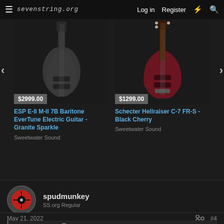sevenstring.org — Log in | Register
[Figure (screenshot): Product listing card for ESP E-II M-II 7B Baritone EverTune Electric Guitar - Granite Sparkle, priced at $2999.00, sold by Sweetwater Sound]
[Figure (screenshot): Product listing card for Schecter Hellraiser C-7 FR-S - Black Cherry, priced at $1299.00, sold by Sweetwater Sound]
spudmunkey
SS.org Regular
May 21, 2022
#4
mniel8195 said: